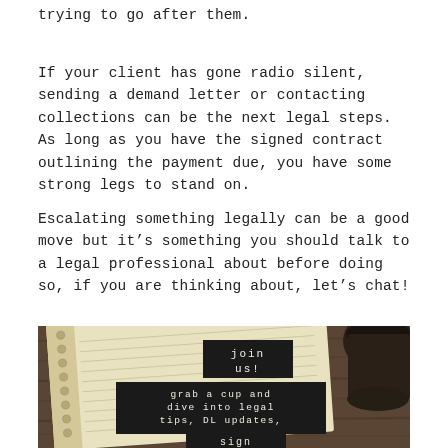trying to go after them.
If your client has gone radio silent, sending a demand letter or contacting collections can be the next legal steps. As long as you have the signed contract outlining the payment due, you have some strong legs to stand on.
Escalating something legally can be a good move but it’s something you should talk to a legal professional about before doing so, if you are thinking about, let’s chat!
[Figure (photo): Photo of an open lined notebook on a dark wooden table with a black coffee cup in the top right corner. Overlaid text boxes in dark/black backgrounds read: 'join us!', 'grab a cup and dive into legal tips, DL updates, and more', and 'sign me up' in monospace typewriter font.]